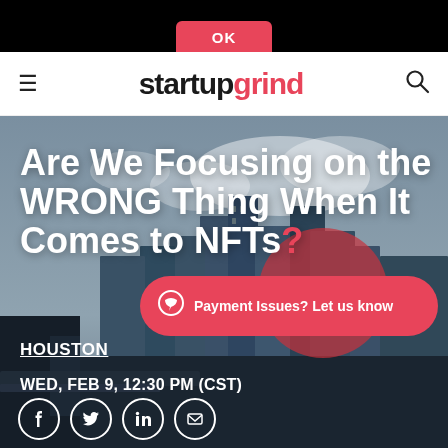OK
[Figure (logo): Startup Grind logo with hamburger menu and search icon navigation bar]
[Figure (photo): Houston city skyline at dusk with clouds, used as hero background image for event page]
Are We Focusing on the WRONG Thing When It Comes to NFTs?
Payment Issues? Let us know
HOUSTON
WED, FEB 9, 12:30 PM (CST)
[Figure (infographic): Social share icons: Facebook, Twitter, LinkedIn, Email — white circles with icons]